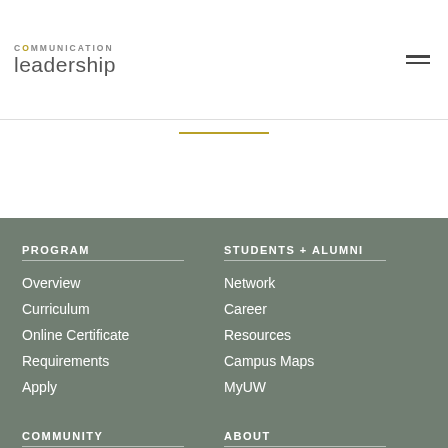COMMUNICATION leadership
[Figure (other): Horizontal gold/olive divider line]
PROGRAM
Overview
Curriculum
Online Certificate
Requirements
Apply
STUDENTS + ALUMNI
Network
Career
Resources
Campus Maps
MyUW
COMMUNITY
ABOUT